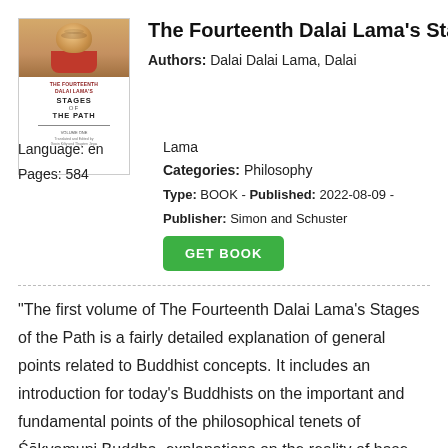[Figure (illustration): Book cover of The Fourteenth Dalai Lama's Stages of the Path, showing a photo of the Dalai Lama at the top and the book title below on a dark red background]
The Fourteenth Dalai Lama's Stages o
Authors: Dalai Dalai Lama, Dalai Lama
Language: en
Pages: 584
Categories: Philosophy
Type: BOOK - Published: 2022-08-09 - Publisher: Simon and Schuster
GET BOOK
"The first volume of The Fourteenth Dalai Lama's Stages of the Path is a fairly detailed explanation of general points related to Buddhist concepts. It includes an introduction for today's Buddhists on the important and fundamental points of the philosophical tenets of Śākyamuni Buddha, explanations on the reality of base